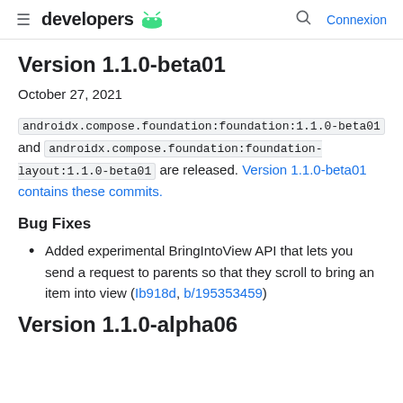developers [android logo] — Search — Connexion
Version 1.1.0-beta01
October 27, 2021
androidx.compose.foundation:foundation:1.1.0-beta01 and androidx.compose.foundation:foundation-layout:1.1.0-beta01 are released. Version 1.1.0-beta01 contains these commits.
Bug Fixes
Added experimental BringIntoView API that lets you send a request to parents so that they scroll to bring an item into view (Ib918d, b/195353459)
Version 1.1.0-alpha06